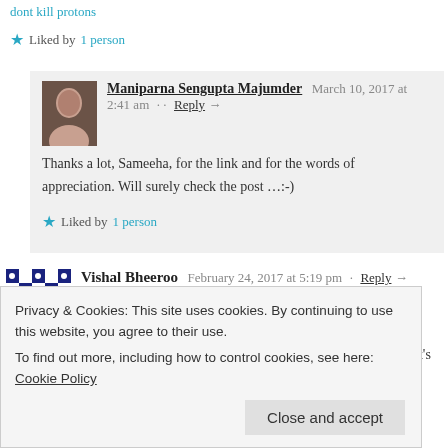dont kill protons
★ Liked by 1 person
Maniparna Sengupta Majumder   March 10, 2017 at 2:41 am · Reply →
Thanks a lot, Sameeha, for the link and for the words of appreciation. Will surely check the post …:-)
★ Liked by 1 person
Vishal Bheeroo   February 24, 2017 at 5:19 pm · Reply →
Now, that's a well-thought process on our emotions and happiness. I feel it's quite complex to waver our inner self and how things affect us at the deep subconscious level. You have explained them in detail and
Privacy & Cookies: This site uses cookies. By continuing to use this website, you agree to their use.
To find out more, including how to control cookies, see here: Cookie Policy
Close and accept